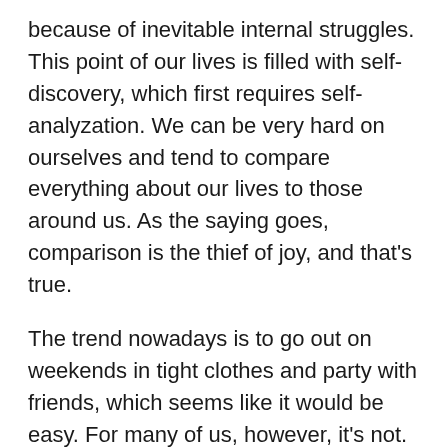because of inevitable internal struggles. This point of our lives is filled with self-discovery, which first requires self-analyzation. We can be very hard on ourselves and tend to compare everything about our lives to those around us. As the saying goes, comparison is the thief of joy, and that's true.
The trend nowadays is to go out on weekends in tight clothes and party with friends, which seems like it would be easy. For many of us, however, it's not. Many studies have shown college students are at a higher risk of developing eating disorders than other age groups.
“Eating disorders develop when the need to feel control over a stressful environment is channeled through food restriction, over-exercise, and an unhealthy focus on body weight,” according to Rae Jacobson of Child Mind Institute.